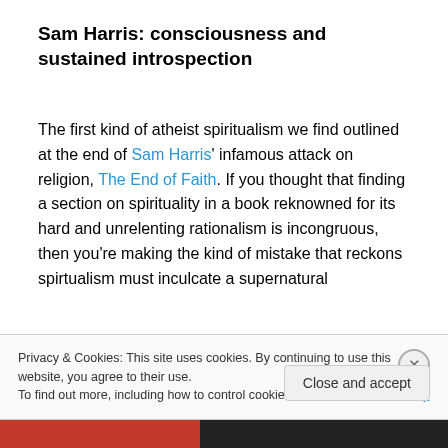Sam Harris: consciousness and sustained introspection
The first kind of atheist spiritualism we find outlined at the end of Sam Harris' infamous attack on religion, The End of Faith. If you thought that finding a section on spirituality in a book reknowned for its hard and unrelenting rationalism is incongruous, then you're making the kind of mistake that reckons spirtualism must inculcate a supernatural
Privacy & Cookies: This site uses cookies. By continuing to use this website, you agree to their use.
To find out more, including how to control cookies, see here: Cookie Policy